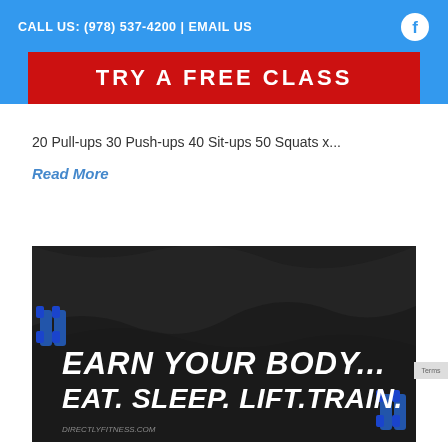CALL US: (978) 537-4200 | EMAIL US
TRY A FREE CLASS
20 Pull-ups 30 Push-ups 40 Sit-ups 50 Squats x...
Read More
[Figure (photo): Dark motivational fitness image with text: EARN YOUR BODY... EAT. SLEEP. LIFT. TRAIN. with directlyfitness.com watermark and blue dumbbells visible]